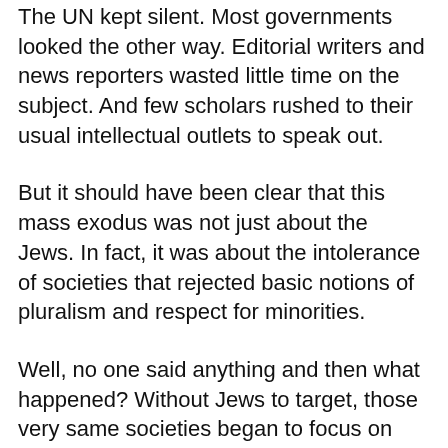The UN kept silent. Most governments looked the other way. Editorial writers and news reporters wasted little time on the subject. And few scholars rushed to their usual intellectual outlets to speak out.
But it should have been clear that this mass exodus was not just about the Jews. In fact, it was about the intolerance of societies that rejected basic notions of pluralism and respect for minorities.
Well, no one said anything and then what happened? Without Jews to target, those very same societies began to focus on other communities, especially Christians, but also minority Muslim sects.
But again, the very same universe that looked the other way when it came to the Jews didn't acquit itself any better when it came to Copts in Egypt or Chaldeans in Iraq.